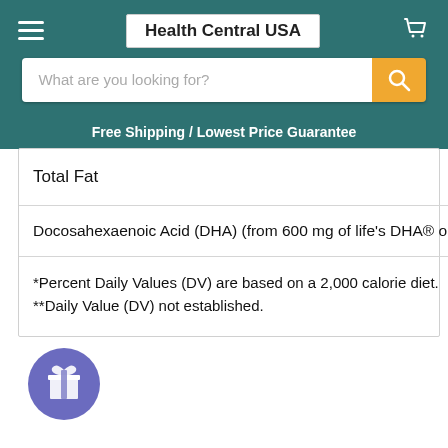Health Central USA
What are you looking for?
Free Shipping / Lowest Price Guarantee
| Total Fat |
| Docosahexaenoic Acid (DHA) (from 600 mg of life's DHA® oi |
| *Percent Daily Values (DV) are based on a 2,000 calorie diet.
**Daily Value (DV) not established. |
[Figure (illustration): Purple circular reward/gift button icon]